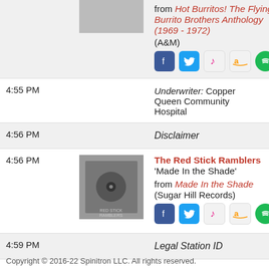from Hot Burritos! The Flying Burrito Brothers Anthology (1969 - 1972) (A&M)
4:55 PM — Underwriter: Copper Queen Community Hospital
4:56 PM — Disclaimer
4:56 PM — The Red Stick Ramblers 'Made In the Shade' from Made In the Shade (Sugar Hill Records)
4:59 PM — Legal Station ID
Copyright © 2016-22 Spinitron LLC. All rights reserved.